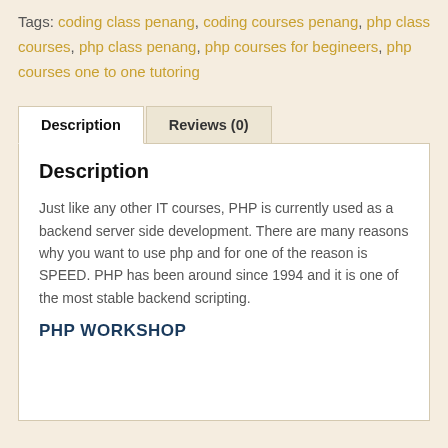Tags: coding class penang, coding courses penang, php class courses, php class penang, php courses for begineers, php courses one to one tutoring
Description
Reviews (0)
Description
Just like any other IT courses, PHP is currently used as a backend server side development. There are many reasons why you want to use php and for one of the reason is SPEED. PHP has been around since 1994 and it is one of the most stable backend scripting.
PHP WORKSHOP